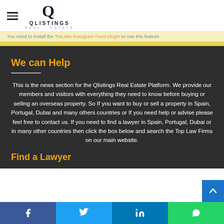QLISTINGS REAL ESTATE
You need to install the TieLabs Instagram Feed plugin to use this feature
We can Help
This is the news section for the Qlistings Real Estate Platform. We provide our members and visitors with everything they need to know before buying or selling an overseas property. So If you want to buy or sell a property in Spain, Portugal, Dubai and many others countries or If you need help or advise please feel free to contact us. If you need to find a lawyer in Spain, Portugal, Dubai or in many other countries then click the box below and search the Top Law Firms on our main website.
Find a Lawyer
Facebook Twitter LinkedIn WhatsApp